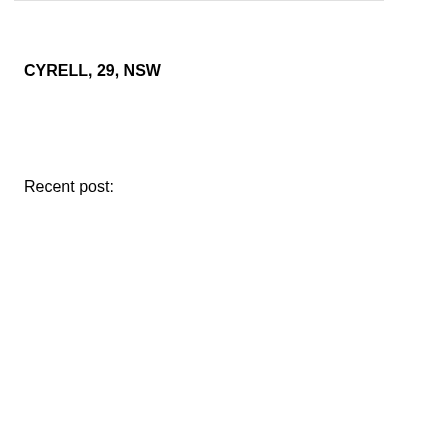CYRELL, 29, NSW
Recent post:
[Figure (screenshot): A card with a loading placeholder: a circular avatar placeholder and two grey rounded rectangle lines representing text content]